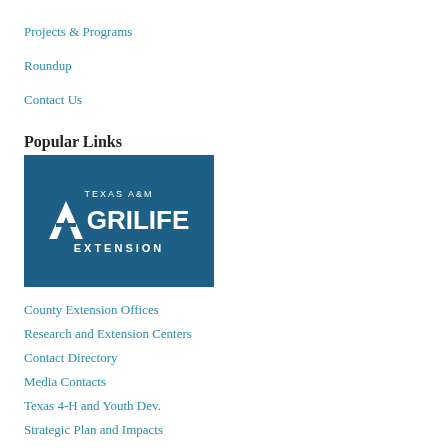Projects & Programs
Roundup
Contact Us
Popular Links
[Figure (logo): Texas A&M AgriLife Extension logo — white text on dark blue background, with stylized A mark]
County Extension Offices
Research and Extension Centers
Contact Directory
Media Contacts
Texas 4-H and Youth Dev.
Strategic Plan and Impacts